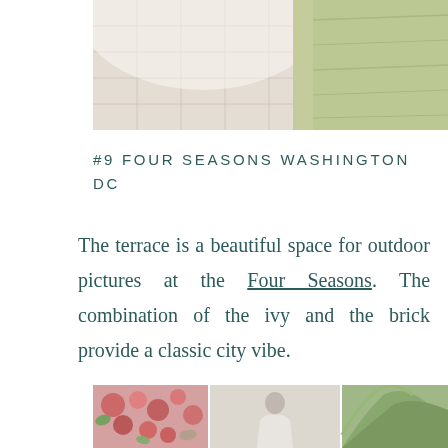[Figure (photo): Overhead view of a stone tile terrace area with grass visible, soft muted tones]
#9 FOUR SEASONS WASHINGTON DC
The terrace is a beautiful space for outdoor pictures at the Four Seasons. The combination of the ivy and the brick provide a classic city vibe.
[Figure (photo): Three partial photos at bottom: floral arrangement, person in wedding dress, greenery/ferns]